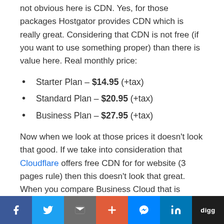not obvious here is CDN. Yes, for those packages Hostgator provides CDN which is really great. Considering that CDN is not free (if you want to use something proper) than there is value here. Real monthly price:
Starter Plan – $14.95 (+tax)
Standard Plan – $20.95 (+tax)
Business Plan – $27.95 (+tax)
Now when we look at those prices it doesn't look that good. If we take into consideration that Cloudflare offers free CDN for for website (3 pages rule) then this doesn't look that great. When you compare Business Cloud that is $19.95 with Business Plan here that is $27.95 – I would choose
Facebook | Twitter | Email | Plus | Messenger | LinkedIn | Digg